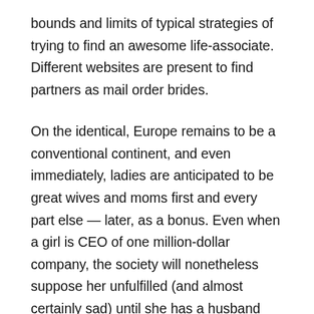bounds and limits of typical strategies of trying to find an awesome life-associate. Different websites are present to find partners as mail order brides.
On the identical, Europe remains to be a conventional continent, and even immediately, ladies are anticipated to be great wives and moms first and every part else — later, as a bonus. Even when a girl is CEO of one million-dollar company, the society will nonetheless suppose her unfulfilled (and almost certainly sad) until she has a husband and a few youngsters. For grooms, this social stereotype signifies that most Slavic ladies are glorious homemakers and attentive moms. Their resourcefulness helps them find and manage the time for household chores